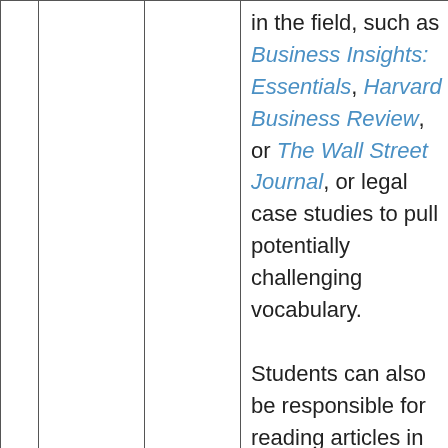in the field, such as Business Insights: Essentials, Harvard Business Review, or The Wall Street Journal, or legal case studies to pull potentially challenging vocabulary.

Students can also be responsible for reading articles in their disciplines and pulling a given